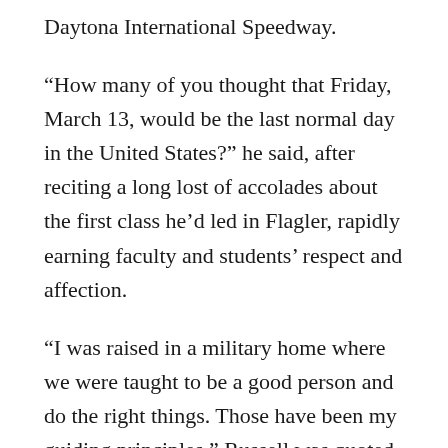Daytona International Speedway.
“How many of you thought that Friday, March 13, would be the last normal day in the United States?” he said, after reciting a long lost of accolades about the first class he’d led in Flagler, rapidly earning faculty and students’ respect and affection.
“I was raised in a military home where we were taught to be a good person and do the right things. Those have been my guiding principles,” Russell was quoted as saying several years ago when he became interim superintendent in Volusia.